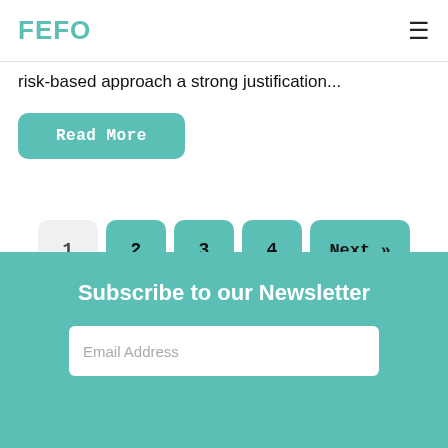FEFO
risk-based approach a strong justification...
Read More
1  2  3  4  Next »
Subscribe to our Newsletter
Email Address